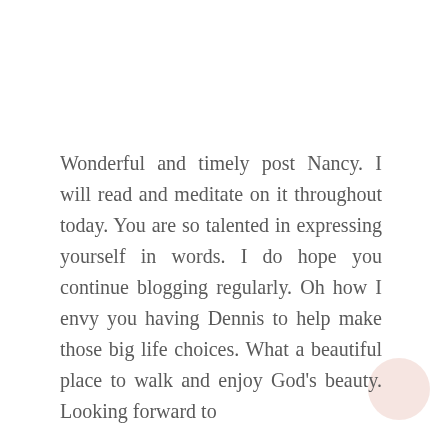Wonderful and timely post Nancy. I will read and meditate on it throughout today. You are so talented in expressing yourself in words. I do hope you continue blogging regularly. Oh how I envy you having Dennis to help make those big life choices. What a beautiful place to walk and enjoy God's beauty. Looking forward to